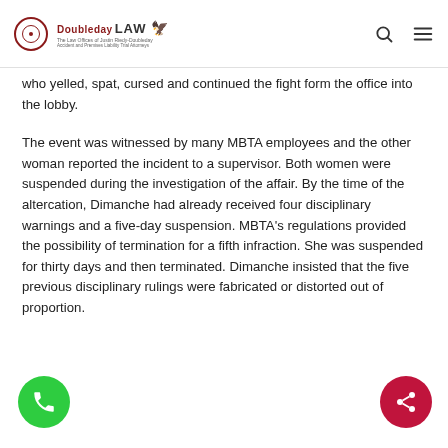Doubleday LAW — The Law Offices of Justin Riedy-Doubleday
who yelled, spat, cursed and continued the fight form the office into the lobby.
The event was witnessed by many MBTA employees and the other woman reported the incident to a supervisor. Both women were suspended during the investigation of the affair. By the time of the altercation, Dimanche had already received four disciplinary warnings and a five-day suspension. MBTA's regulations provided the possibility of termination for a fifth infraction. She was suspended for thirty days and then terminated. Dimanche insisted that the five previous disciplinary rulings were fabricated or distorted out of proportion.